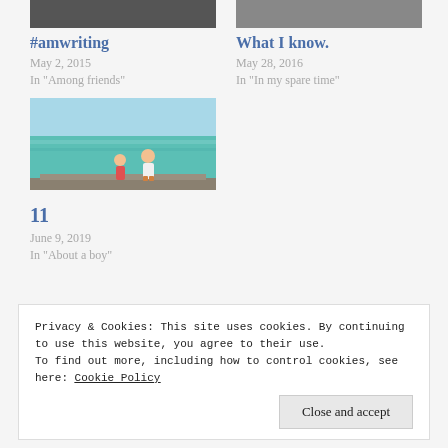[Figure (photo): Partial top image, left column, dark/cropped]
#amwriting
May 2, 2015
In "Among friends"
[Figure (photo): Partial top image, right column, outdoor/people]
What I know.
May 28, 2016
In “In my spare time”
[Figure (photo): Photo of two people sitting on a dock by turquoise water, beach scene]
11
June 9, 2019
In "About a boy"
Privacy & Cookies: This site uses cookies. By continuing to use this website, you agree to their use.
To find out more, including how to control cookies, see here: Cookie Policy